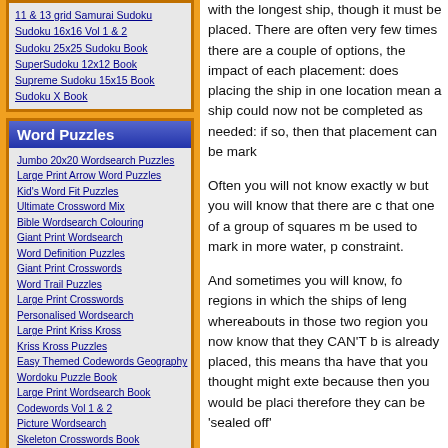11 & 13 grid Samurai Sudoku
Sudoku 16x16 Vol 1 & 2
Sudoku 25x25 Sudoku Book
SuperSudoku 12x12 Book
Supreme Sudoku 15x15 Book
Sudoku X Book
Word Puzzles
Jumbo 20x20 Wordsearch Puzzles
Large Print Arrow Word Puzzles
Kid's Word Fit Puzzles
Ultimate Crossword Mix
Bible Wordsearch Colouring
Giant Print Wordsearch
Word Definition Puzzles
Giant Print Crosswords
Word Trail Puzzles
Large Print Crosswords
Personalised Wordsearch
Large Print Kriss Kross
Kriss Kross Puzzles
Easy Themed Codewords Geography
Wordoku Puzzle Book
Large Print Wordsearch Book
Codewords Vol 1 & 2
Picture Wordsearch
Skeleton Crosswords Book
Word Ladders Book
Wordwheels Book
with the longest ship, though it must be placed. There are often very few times there are a couple of options, the impact of each placement: does placing the ship in one location mean a ship could now not be completed as needed: if so, then that placement can be marked off.
Often you will not know exactly where ships are, but you will know that there are constraints — that one of a group of squares must be used to mark in more water, perhaps, as a constraint.
And sometimes you will know, for the two regions in which the ships of length 3 sit, whereabouts in those two regions they sit — you now know that they CAN'T be where one is already placed, this means that any squares have that you thought might extend that ship, because then you would be placing two ships, therefore they can be 'sealed off'.
As it can be seen, there are lots of rules, subtle that can aid with solving battleships, whilst with the easy and some of the medium as you get to some of the harder puzzles you to use a wider range of solving rules that exists for each puzzle.